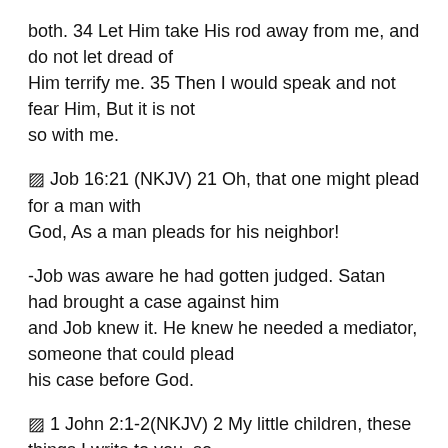both. 34 Let Him take His rod away from me, and do not let dread of Him terrify me. 35 Then I would speak and not fear Him, But it is not so with me.
🔲 Job 16:21 (NKJV) 21 Oh, that one might plead for a man with God, As a man pleads for his neighbor!
-Job was aware he had gotten judged. Satan had brought a case against him and Job knew it. He knew he needed a mediator, someone that could plead his case before God.
🔲 1 John 2:1-2(NKJV) 2 My little children, these things I write to you, so